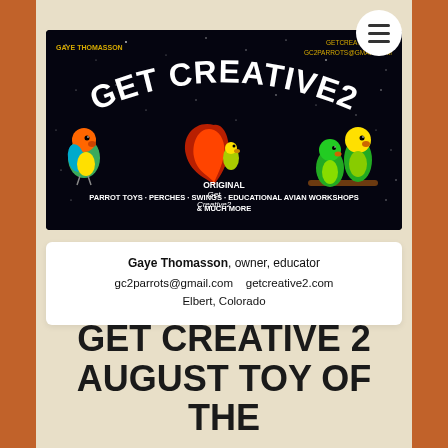[Figure (logo): Get Creative 2 banner with black background, white arched text GET CREATIVE2, parrots on left and right, logo in center, tagline about parrot toys perches swings educational avian workshops]
Gaye Thomasson, owner, educator gc2parrots@gmail.com   getcreative2.com Elbert, Colorado
GET CREATIVE 2 AUGUST TOY OF THE